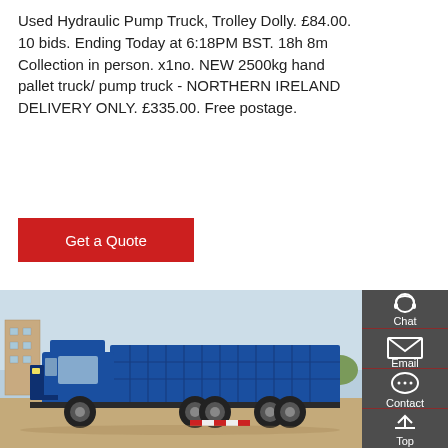Used Hydraulic Pump Truck, Trolley Dolly. £84.00. 10 bids. Ending Today at 6:18PM BST. 18h 8m Collection in person. x1no. NEW 2500kg hand pallet truck/ pump truck - NORTHERN IRELAND DELIVERY ONLY. £335.00. Free postage.
[Figure (other): Red 'Get a Quote' button]
[Figure (photo): Side-view photo of a large blue dump truck parked on a dirt lot, with trees and a building in the background.]
[Figure (infographic): Dark grey sidebar panel with Chat (headset icon), Email (envelope icon), Contact (speech bubble icon), and Top (arrow icon) buttons, separated by dark red lines.]